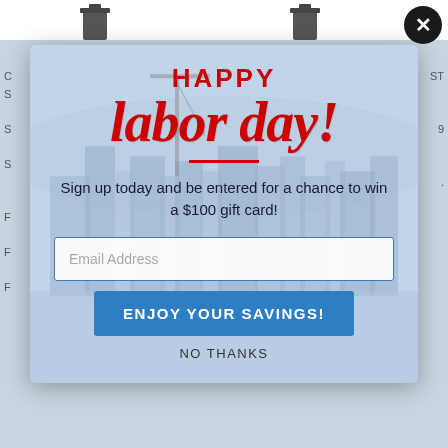[Figure (screenshot): Background webpage showing product listings, partially obscured by modal popup]
[Figure (infographic): Labor Day promotional modal popup with city skyline background. Contains 'HAPPY' in bold red uppercase, 'labor day!' in large red italic script, a red underline, sign-up text, email input field, blue 'ENJOY YOUR SAVINGS!' button, and 'NO THANKS' link.]
HAPPY
labor day!
Sign up today and be entered for a chance to win a $100 gift card!
Email Address
ENJOY YOUR SAVINGS!
NO THANKS